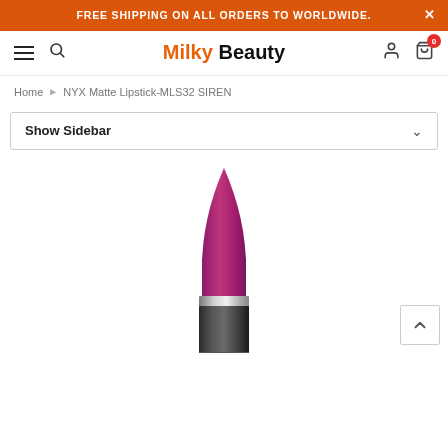FREE SHIPPING ON ALL ORDERS TO WORLDWIDE.
Milky Beauty
Home > NYX Matte Lipstick-MLS32 SIREN
Show Sidebar
[Figure (photo): NYX Matte Lipstick in a deep magenta/berry shade (MLS32 SIREN) — lipstick shown open in silver and black casing with a pointed bullet tip.]